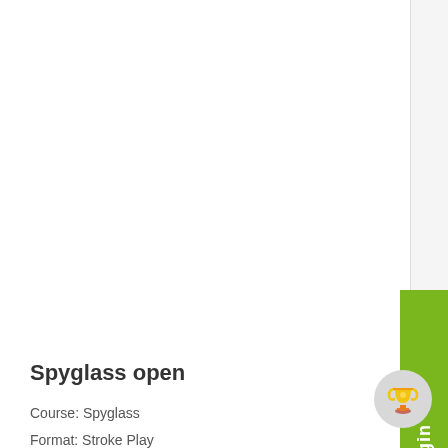Spyglass open
Course: Spyglass
Format: Stroke Play
Start: 01/01/2019
End: 01/31/2019
Max Players: 24
Tee Position: Pro
JOIN NOW